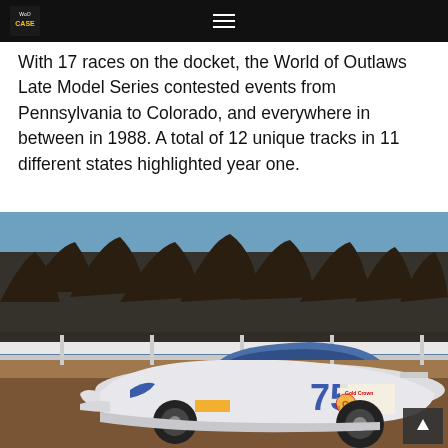World of Outlaws Late Model Series website header with logo and navigation
With 17 races on the docket, the World of Outlaws Late Model Series contested events from Pennsylvania to Colorado, and everywhere in between in 1988. A total of 12 unique tracks in 11 different states highlighted year one.
[Figure (photo): Vintage 1988 photo of a white and blue late model race car numbered 75 on a dirt track with trees in the background]